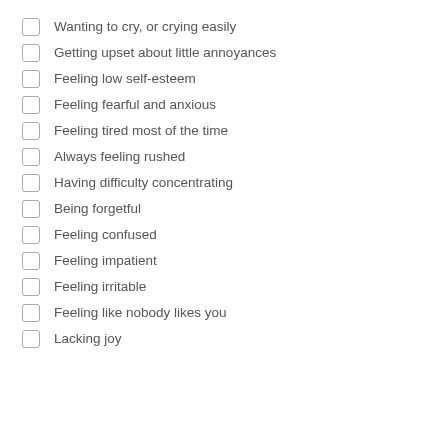Wanting to cry, or crying easily
Getting upset about little annoyances
Feeling low self-esteem
Feeling fearful and anxious
Feeling tired most of the time
Always feeling rushed
Having difficulty concentrating
Being forgetful
Feeling confused
Feeling impatient
Feeling irritable
Feeling like nobody likes you
Lacking joy